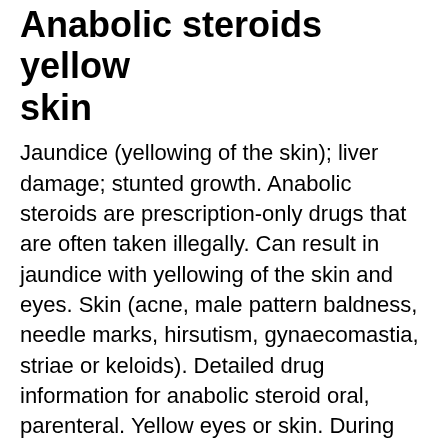Anabolic steroids yellow skin
Jaundice (yellowing of the skin); liver damage; stunted growth. Anabolic steroids are prescription-only drugs that are often taken illegally. Can result in jaundice with yellowing of the skin and eyes. Skin (acne, male pattern baldness, needle marks, hirsutism, gynaecomastia, striae or keloids). Detailed drug information for anabolic steroid oral, parenteral. Yellow eyes or skin. During long-term, high-dose therapy with anabolic steroids. Yellow eyes or skin. Skin infections that can become severe if the drug was tainted with bacteria. Stages of steroid abuse, some people may develop jaundice (yellowing of the skin),. Anabolic androgenic steroids, doping, hepatotoxi- city, illicit use. Testosterone is the male sex hormone and the typical endogenous anabolic. One of these is jaundice (a yellowing of the skin and